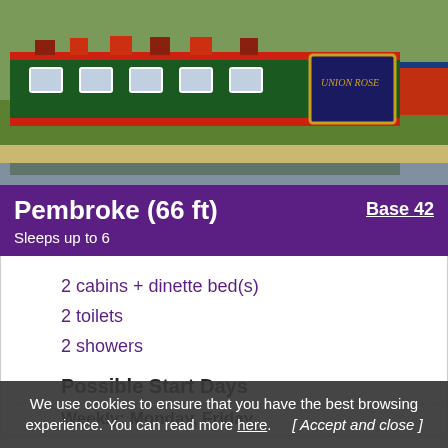[Figure (photo): A green and red narrow canal boat moored at a dock with green grass and other boats visible in background]
Pembroke (66 ft)
Sleeps up to 6
Base 42
2 cabins + dinette bed(s)
2 toilets
2 showers
Possible Start Days
Weekly: Monday, Friday
We use cookies to ensure that you have the best browsing experience. You can read more here. [ Accept and close ]